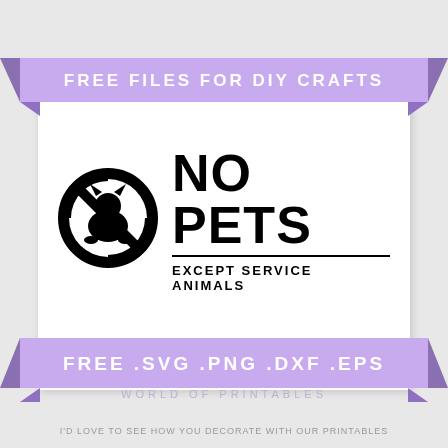FREE FILES FOR DIY CRAFTS
[Figure (illustration): No Pets sign with prohibited symbol (circle with slash) containing a cat/dog silhouette, with bold text NO PETS and subtitle EXCEPT SERVICE ANIMALS]
FREE .SVG .PNG .DXF .EPS
WORLD OF PRINTABLES